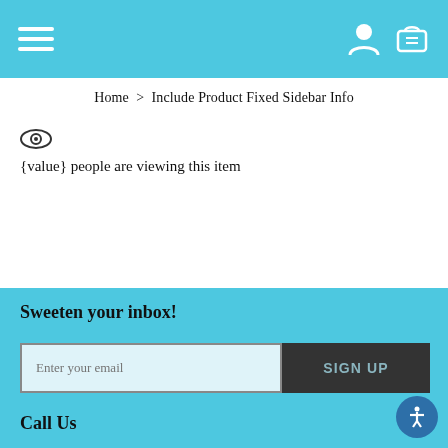Navigation header with hamburger menu, user icon, and cart icon
Home > Include Product Fixed Sidebar Info
[Figure (other): Eye/view icon]
{value} people are viewing this item
Sweeten your inbox!
Enter your email — SIGN UP button
Call Us